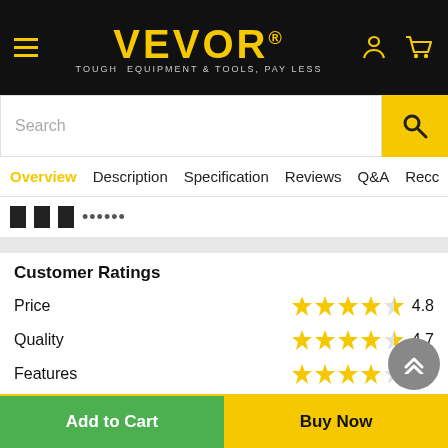VEVOR® — TOUGH EQUIPMENT & TOOLS, PAY LESS
[Figure (screenshot): Search bar with magnifying glass icon on yellow background]
Overview  Description  Specification  Reviews  Q&A  Recc
Customer Ratings
Price  ★★★★★  4.8
Quality  ★★★★½  4.7
Features  ★★★★½  4.6
See more
Add to Cart   Buy Now